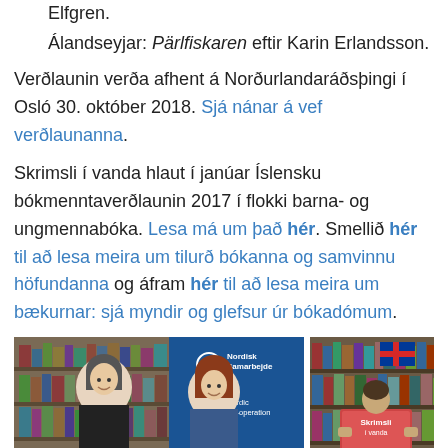Elfgren.
Álandseyjar: Pärlfiskaren eftir Karin Erlandsson.
Verðlaunin verða afhent á Norðurlandaráðsþingi í Osló 30. október 2018. Sjá nánar á vef verðlaunanna.
Skrimsli í vanda hlaut í janúar Íslensku bókmenntaverðlaunin 2017 í flokki barna- og ungmennabóka. Lesa má um það hér. Smellið hér til að lesa meira um tilurð bókanna og samvinnu höfundanna og áfram hér til að lesa meira um bækurnar: sjá myndir og glefsur úr bókadómum.
[Figure (photo): Two women posing together in front of a library bookshelf, with a Nordic Co-operation / Nordisk Samarbejde blue branded backdrop visible behind the right woman.]
[Figure (photo): A person holding a book titled 'Skrimsli í vanda' with an Icelandic flag visible and bookshelves in the background.]